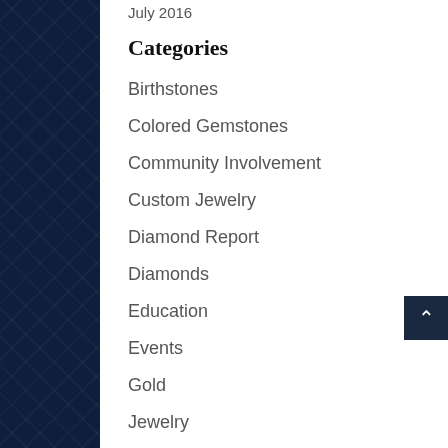July 2016
Categories
Birthstones
Colored Gemstones
Community Involvement
Custom Jewelry
Diamond Report
Diamonds
Education
Events
Gold
Jewelry
Jewelry Appraisal